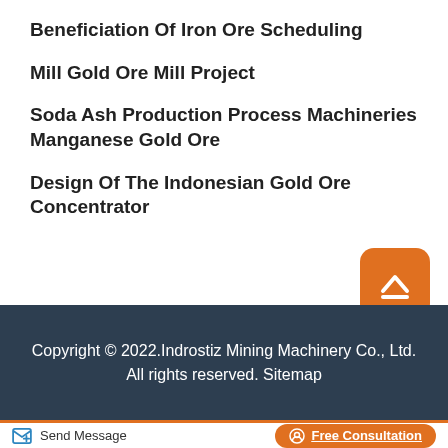Beneficiation Of Iron Ore Scheduling
Mill Gold Ore Mill Project
Soda Ash Production Process Machineries Manganese Gold Ore
Design Of The Indonesian Gold Ore Concentrator
Copyright © 2022.Indrostiz Mining Machinery Co., Ltd. All rights reserved. Sitemap